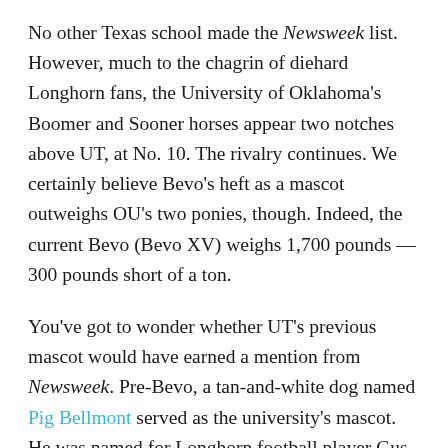No other Texas school made the Newsweek list. However, much to the chagrin of diehard Longhorn fans, the University of Oklahoma's Boomer and Sooner horses appear two notches above UT, at No. 10. The rivalry continues. We certainly believe Bevo's heft as a mascot outweighs OU's two ponies, though. Indeed, the current Bevo (Bevo XV) weighs 1,700 pounds — 300 pounds short of a ton.
You've got to wonder whether UT's previous mascot would have earned a mention from Newsweek. Pre-Bevo, a tan-and-white dog named Pig Bellmont served as the university's mascot. He was named for Longhorn football player Gus "Pig" Dittmar. Sadly, Pig Bellmont met his demise in 1923 after suffering serious injuries from a run-in with a Model T.